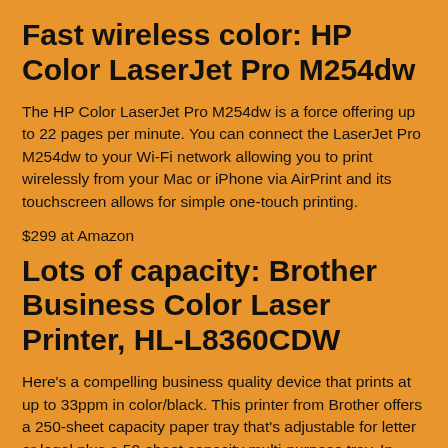Fast wireless color: HP Color LaserJet Pro M254dw
The HP Color LaserJet Pro M254dw is a force offering up to 22 pages per minute. You can connect the LaserJet Pro M254dw to your Wi-Fi network allowing you to print wirelessly from your Mac or iPhone via AirPrint and its touchscreen allows for simple one-touch printing.
$299 at Amazon
Lots of capacity: Brother Business Color Laser Printer, HL-L8360CDW
Here's a compelling business quality device that prints at up to 33ppm in color/black. This printer from Brother offers a 250-sheet capacity paper tray that's adjustable for letter or legal plus a 50-sheet capacity multi-purpose tray. In total, the